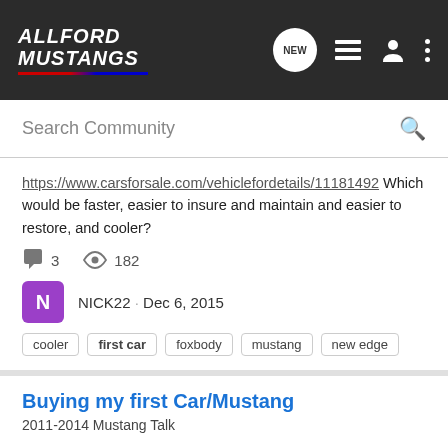AllFord Mustangs
Search Community
https://www.carsforsale.com/vehiclefordetails/11181492 Which would be faster, easier to insure and maintain and easier to restore, and cooler?
3 comments · 182 views
NICK22 · Dec 6, 2015
cooler
first car
foxbody
mustang
new edge
Buying my first Car/Mustang
2011-2014 Mustang Talk
Hey Guys and Girls, I'm looking at buying my first car ever. I'm 19 and live in Massachusetts. I'm looking at some Mustangs(huge fan since I was little). I'm having trouble. The mustangs I've been looking at are up to $20,000. Here's the Mustangs 2014 Ford Mustang V6 Premium $19,373 with